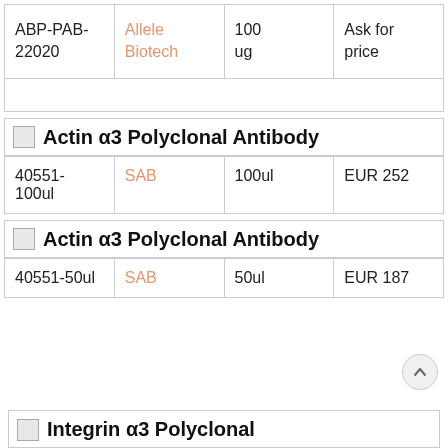| Product ID | Supplier | Size | Price |
| --- | --- | --- | --- |
| ABP-PAB-22020 | Allele Biotech | 100 ug | Ask for price |
|  |  |  |  |
Actin α3 Polyclonal Antibody
| Product ID | Supplier | Size | Price |
| --- | --- | --- | --- |
| 40551-100ul | SAB | 100ul | EUR 252 |
Actin α3 Polyclonal Antibody
| Product ID | Supplier | Size | Price |
| --- | --- | --- | --- |
| 40551-50ul | SAB | 50ul | EUR 187 |
Integrin α3 Polyclonal...